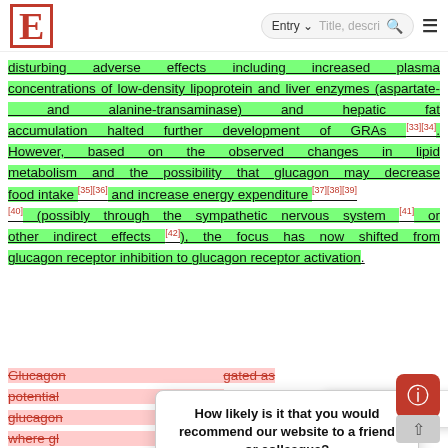E — Entry search bar navigation
disturbing adverse effects including increased plasma concentrations of low-density lipoprotein and liver enzymes (aspartate- and alanine-transaminase) and hepatic fat accumulation halted further development of GRAs [33][34]. However, based on the observed changes in lipid metabolism and the possibility that glucagon may decrease food intake [35][36] and increase energy expenditure [37][38][39][40] (possibly through the sympathetic nervous system [41] or other indirect effects [42]), the focus has now shifted from glucagon receptor inhibition to glucagon receptor activation.
Glucagon ... investigated as potential ... o glucagon ... t, where gl... fatty acid